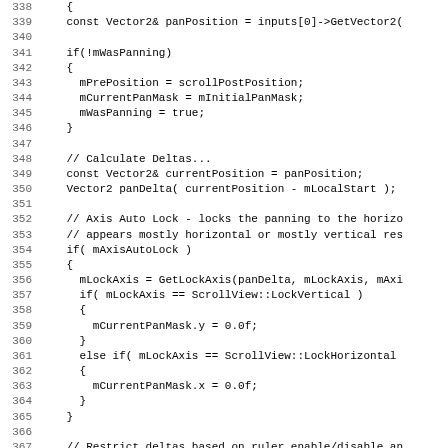Source code listing lines 338-370, C++ code for pan gesture handling with axis auto lock logic.